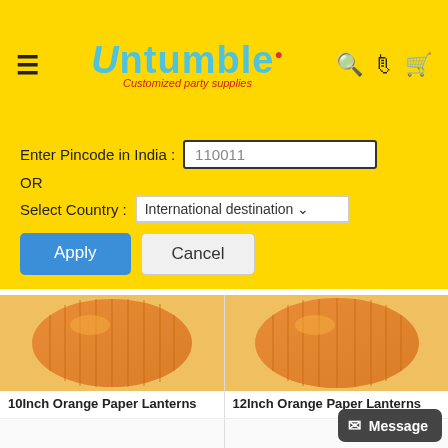[Figure (screenshot): Untumble website header with logo, hamburger menu, search, WhatsApp, and cart icons on yellow background]
Enter Pincode in India : 110011
OR
Select Country : International destination
Apply
Cancel
[Figure (photo): 10Inch Orange Paper Lantern product photo]
10Inch Orange Paper Lanterns
Rs. 80.00
[Figure (photo): 12Inch Orange Paper Lantern product photo]
12Inch Orange Paper Lanterns
Rs. 95.00
Message